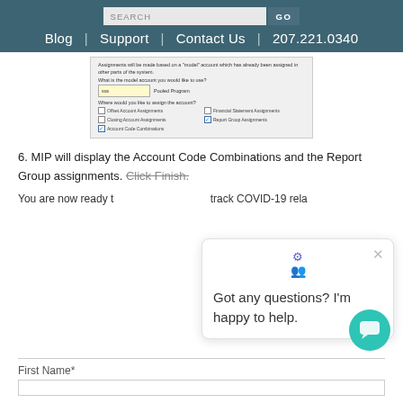SEARCH GO | Blog | Support | Contact Us | 207.221.0340
[Figure (screenshot): Screenshot of a model account assignment dialog with dropdown showing 'ssa', Pooled Program label, checkboxes for Offset Account Assignments, Financial Statement Assignments, Closing Account Assignments, Report Group Assignments (checked), Account Code Combinations (checked).]
6. MIP will display the Account Code Combinations and the Report Group assignments. Click Finish.
You are now ready to track COVID-19 rela...
Got any questions? I'm happy to help.
First Name*